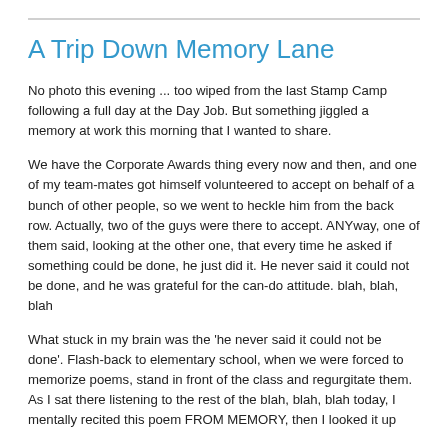A Trip Down Memory Lane
No photo this evening ... too wiped from the last Stamp Camp following a full day at the Day Job. But something jiggled a memory at work this morning that I wanted to share.
We have the Corporate Awards thing every now and then, and one of my team-mates got himself volunteered to accept on behalf of a bunch of other people, so we went to heckle him from the back row. Actually, two of the guys were there to accept. ANYway, one of them said, looking at the other one, that every time he asked if something could be done, he just did it. He never said it could not be done, and he was grateful for the can-do attitude. blah, blah, blah
What stuck in my brain was the 'he never said it could not be done'. Flash-back to elementary school, when we were forced to memorize poems, stand in front of the class and regurgitate them. As I sat there listening to the rest of the blah, blah, blah today, I mentally recited this poem FROM MEMORY, then I looked it up